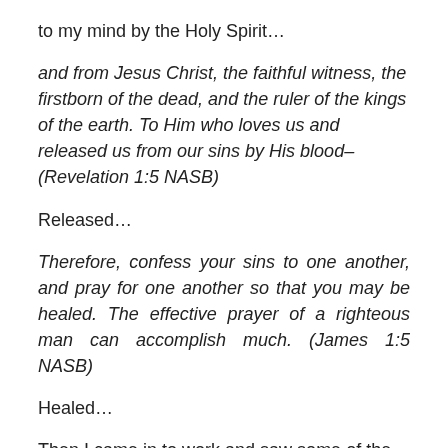to my mind by the Holy Spirit…
and from Jesus Christ, the faithful witness, the firstborn of the dead, and the ruler of the kings of the earth. To Him who loves us and released us from our sins by His blood– (Revelation 1:5 NASB)
Released…
Therefore, confess your sins to one another, and pray for one another so that you may be healed. The effective prayer of a righteous man can accomplish much. (James 1:5 NASB)
Healed…
Then I came in to work and saw some of the posts which had been viewed on this blog over the weekend…